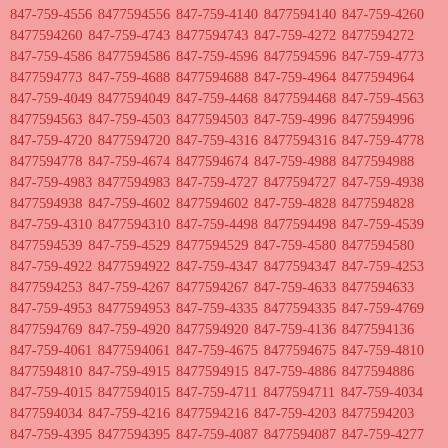847-759-4556 8477594556 847-759-4140 8477594140 847-759-4260 8477594260 847-759-4743 8477594743 847-759-4272 8477594272 847-759-4586 8477594586 847-759-4596 8477594596 847-759-4773 8477594773 847-759-4688 8477594688 847-759-4964 8477594964 847-759-4049 8477594049 847-759-4468 8477594468 847-759-4563 8477594563 847-759-4503 8477594503 847-759-4996 8477594996 847-759-4720 8477594720 847-759-4316 8477594316 847-759-4778 8477594778 847-759-4674 8477594674 847-759-4988 8477594988 847-759-4983 8477594983 847-759-4727 8477594727 847-759-4938 8477594938 847-759-4602 8477594602 847-759-4828 8477594828 847-759-4310 8477594310 847-759-4498 8477594498 847-759-4539 8477594539 847-759-4529 8477594529 847-759-4580 8477594580 847-759-4922 8477594922 847-759-4347 8477594347 847-759-4253 8477594253 847-759-4267 8477594267 847-759-4633 8477594633 847-759-4953 8477594953 847-759-4335 8477594335 847-759-4769 8477594769 847-759-4920 8477594920 847-759-4136 8477594136 847-759-4061 8477594061 847-759-4675 8477594675 847-759-4810 8477594810 847-759-4915 8477594915 847-759-4886 8477594886 847-759-4015 8477594015 847-759-4711 8477594711 847-759-4034 8477594034 847-759-4216 8477594216 847-759-4203 8477594203 847-759-4395 8477594395 847-759-4087 8477594087 847-759-4277 8477594277 847-759-4176 8477594176 847-759-4375 8477594375 847-759-4339 8477594339 847-759-4766 8477594766 847-759-4761 8477594761 847-759-4341 8477594341 847-759-4812 8477594812 847-759-4643 8477594643 847-759-4733 8477594733 847-759-4555 8477594555